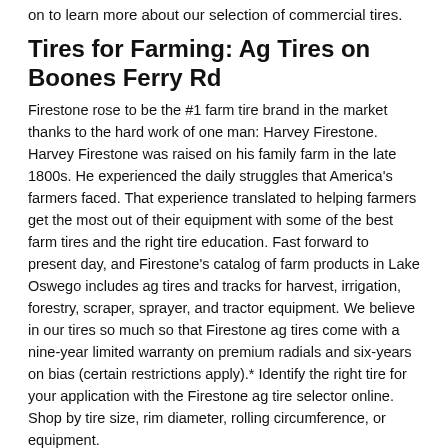on to learn more about our selection of commercial tires.
Tires for Farming: Ag Tires on Boones Ferry Rd
Firestone rose to be the #1 farm tire brand in the market thanks to the hard work of one man: Harvey Firestone. Harvey Firestone was raised on his family farm in the late 1800s. He experienced the daily struggles that America's farmers faced. That experience translated to helping farmers get the most out of their equipment with some of the best farm tires and the right tire education. Fast forward to present day, and Firestone's catalog of farm products in Lake Oswego includes ag tires and tracks for harvest, irrigation, forestry, scraper, sprayer, and tractor equipment. We believe in our tires so much so that Firestone ag tires come with a nine-year limited warranty on premium radials and six-years on bias (certain restrictions apply).* Identify the right tire for your application with the Firestone ag tire selector online. Shop by tire size, rim diameter, rolling circumference, or equipment.
Buy Firestone Off-the-Road Tires at LES SCHWAB TIRE CENTER
You'll find Firestone everywhere there's work to be done. Even